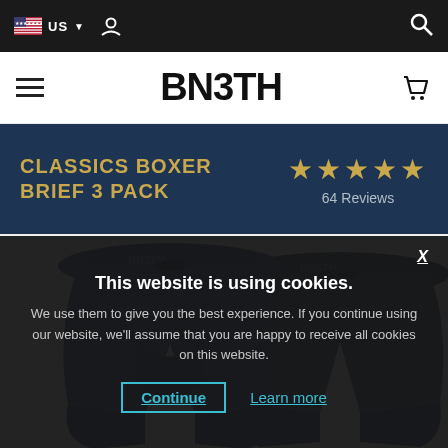US [flag icon] [user icon] [search icon]
BN3TH
CLASSICS BOXER BRIEF 3 PACK
★★★★★ 64 Reviews
[Figure (photo): Two navy blue BN3TH boxer briefs displayed overlapping on a light gray background]
This website is using cookies.
We use them to give you the best experience. If you continue using our website, we'll assume that you are happy to receive all cookies on this website.
Continue   Learn more